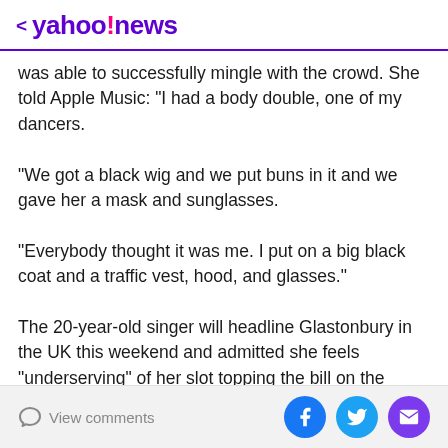< yahoo!news
was able to successfully mingle with the crowd. She told Apple Music: "I had a body double, one of my dancers. "We got a black wig and we put buns in it and we gave her a mask and sunglasses. "Everybody thought it was me. I put on a big black coat and a traffic vest, hood, and glasses." The 20-year-old singer will headline Glastonbury in the UK this weekend and admitted she feels "underserving" of her slot topping the bill on the Pyramid Stage along with Sir Paul McCartney and Kendrick Lamar. She said: "It's a serious once-in-a-lifetime opportunity to be asked to go to and to do.
View comments